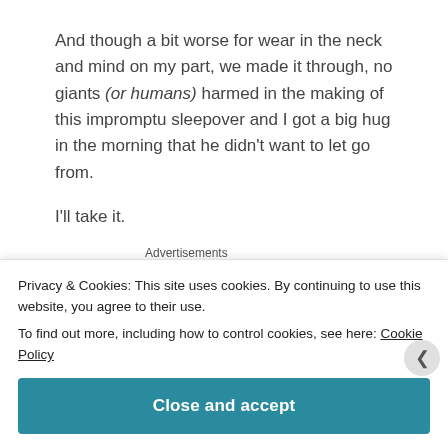And though a bit worse for wear in the neck and mind on my part, we made it through, no giants (or humans) harmed in the making of this impromptu sleepover and I got a big hug in the morning that he didn't want to let go from.
I'll take it.
Advertisements
[Figure (logo): Built By WordPress logo on dark navy background]
Privacy & Cookies: This site uses cookies. By continuing to use this website, you agree to their use.
To find out more, including how to control cookies, see here: Cookie Policy
Close and accept